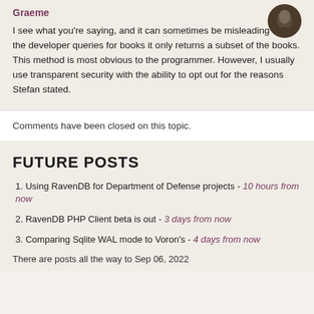Graeme
I see what you're saying, and it can sometimes be misleading that if the developer queries for books it only returns a subset of the books. This method is most obvious to the programmer. However, I usually use transparent security with the ability to opt out for the reasons Stefan stated.
Comments have been closed on this topic.
FUTURE POSTS
Using RavenDB for Department of Defense projects - 10 hours from now
RavenDB PHP Client beta is out - 3 days from now
Comparing Sqlite WAL mode to Voron's - 4 days from now
There are posts all the way to Sep 06, 2022